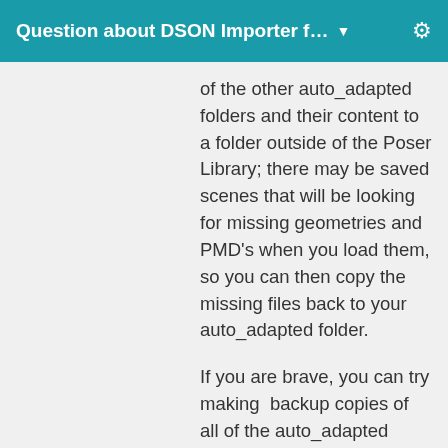Question about DSON Importer f… ▼
of the other auto_adapted folders and their content to a folder outside of the Poser Library; there may be saved scenes that will be looking for missing geometries and PMD's when you load them, so you can then copy the missing files back to your auto_adapted folder.
If you are brave, you can try making  backup copies of all of the auto_adapted folders, and simply combine them all together in the new location… 🙂